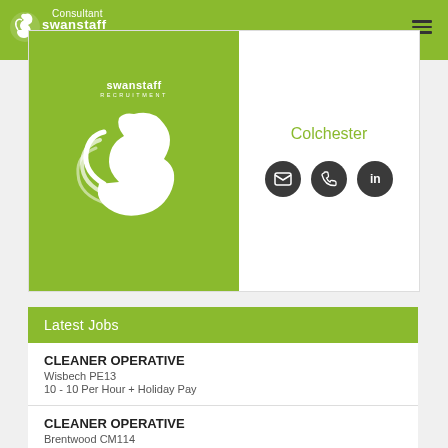Consultant — Swanstaff Recruitment
[Figure (logo): Swanstaff Recruitment logo with swan graphic on green background, with location 'Colchester' and contact icons (email, phone, LinkedIn)]
Latest Jobs
CLEANER OPERATIVE
Wisbech PE13
10 - 10 Per Hour + Holiday Pay
CLEANER OPERATIVE
Brentwood CM114
9.50 - 9.50 Per Hour